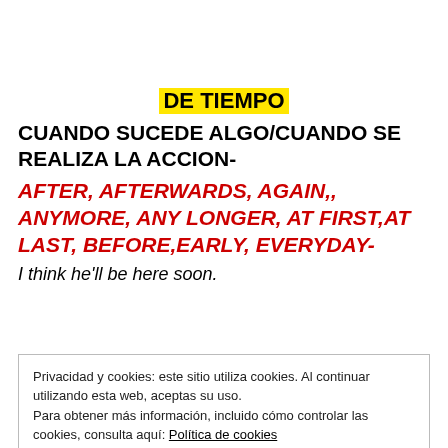DE TIEMPO
CUANDO SUCEDE ALGO/CUANDO SE REALIZA LA ACCION-
AFTER, AFTERWARDS, AGAIN,, ANYMORE, ANY LONGER, AT FIRST,AT LAST, BEFORE,EARLY, EVERYDAY-
I think he'll be here soon.
Privacidad y cookies: este sitio utiliza cookies. Al continuar utilizando esta web, aceptas su uso.
Para obtener más información, incluido cómo controlar las cookies, consulta aquí: Política de cookies